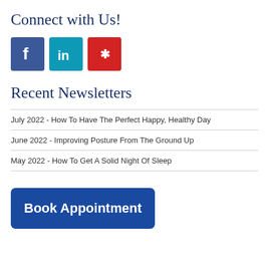Connect with Us!
[Figure (infographic): Social media icons: Facebook (blue), LinkedIn (teal), Yelp (red)]
Recent Newsletters
July 2022 - How To Have The Perfect Happy, Healthy Day
June 2022 - Improving Posture From The Ground Up
May 2022 - How To Get A Solid Night Of Sleep
Book Appointment